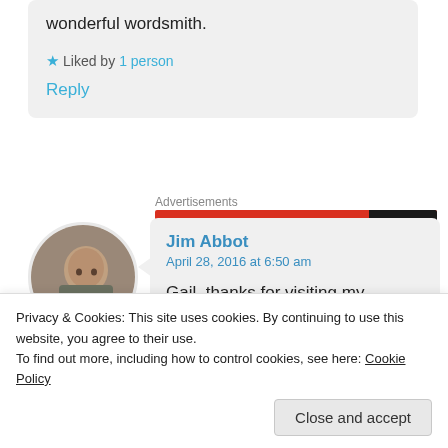wonderful wordsmith.
★ Liked by 1 person
Reply
Advertisements
[Figure (other): Red advertisement banner with dark logo area]
[Figure (photo): Circular avatar photo of a man]
Jim Abbot
April 28, 2016 at 6:50 am
Gail, thanks for visiting my
Advertisements
Privacy & Cookies: This site uses cookies. By continuing to use this website, you agree to their use.
To find out more, including how to control cookies, see here: Cookie Policy
Close and accept